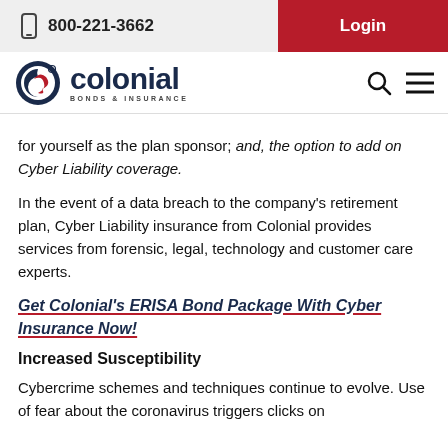800-221-3662 | Login
[Figure (logo): Colonial Bonds & Insurance logo with circular icon in navy and red]
for yourself as the plan sponsor; and, the option to add on Cyber Liability coverage.
In the event of a data breach to the company's retirement plan, Cyber Liability insurance from Colonial provides services from forensic, legal, technology and customer care experts.
Get Colonial's ERISA Bond Package With Cyber Insurance Now!
Increased Susceptibility
Cybercrime schemes and techniques continue to evolve. Use of fear about the coronavirus triggers clicks on